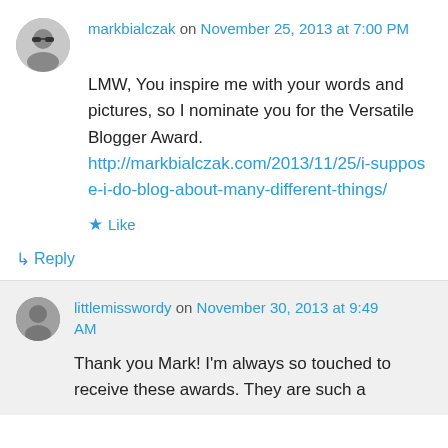[Figure (photo): Avatar photo of markbialczak — circular profile picture of a man wearing sunglasses]
markbialczak on November 25, 2013 at 7:00 PM
LMW, You inspire me with your words and pictures, so I nominate you for the Versatile Blogger Award. http://markbialczak.com/2013/11/25/i-suppose-i-do-blog-about-many-different-things/
★ Like
↳ Reply
[Figure (photo): Avatar photo of littlemisswordy — circular profile picture]
littlemisswordy on November 30, 2013 at 9:49 AM
Thank you Mark! I'm always so touched to receive these awards. They are such a